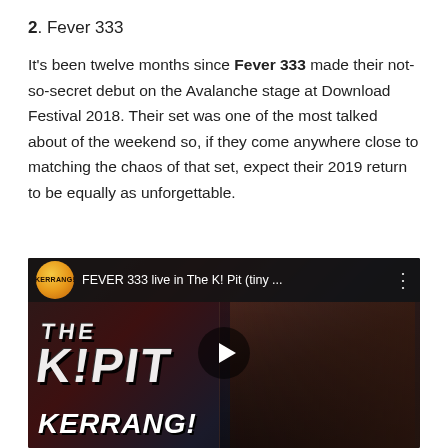2. Fever 333
It's been twelve months since Fever 333 made their not-so-secret debut on the Avalanche stage at Download Festival 2018. Their set was one of the most talked about of the weekend so, if they come anywhere close to matching the chaos of that set, expect their 2019 return to be equally as unforgettable.
[Figure (screenshot): YouTube video thumbnail for 'FEVER 333 live in The K! Pit (tiny ...' by Kerrang channel. Shows the K!Pit logo text overlay on the left, a KERRANG! logo at the bottom left, and a tattooed performer wearing sunglasses on the right side. A play button is centered on the image.]